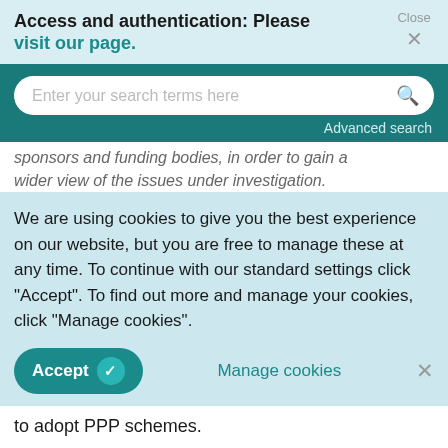Access and authentication: Please visit our page.
[Figure (screenshot): Search bar with placeholder text 'Enter your search terms here' and a search icon, on a teal background with 'Advanced search' link]
sponsors and funding bodies, in order to gain a wider view of the issues under investigation.
We are using cookies to give you the best experience on our website, but you are free to manage these at any time. To continue with our standard settings click "Accept". To find out more and manage your cookies, click "Manage cookies".
Accept   Manage cookies   ×
to adopt PPP schemes.